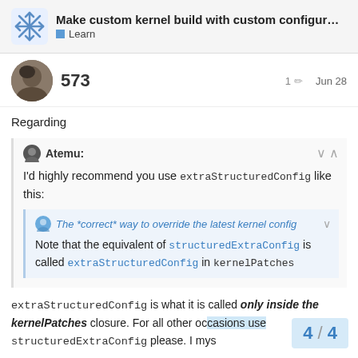Make custom kernel build with custom configur... Learn
573  1 ✏  Jun 28
Regarding
Atemu: I'd highly recommend you use extraStructuredConfig like this:
The *correct* way to override the latest kernel config
Note that the equivalent of structuredExtraConfig is called extraStructuredConfig in kernelPatches
extraStructuredConfig is what it is called only inside the kernelPatches closure. For all other oc… structuredExtraConfig please. I mys…
4 / 4